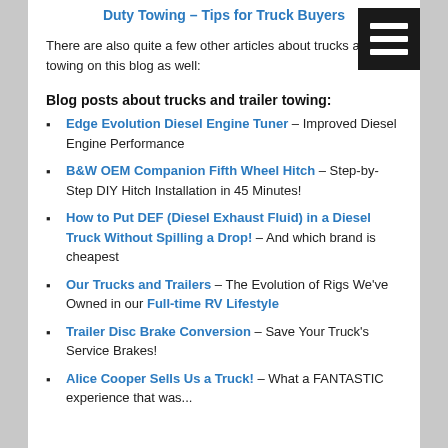Duty Towing – Tips for Truck Buyers
There are also quite a few other articles about trucks and towing on this blog as well:
Blog posts about trucks and trailer towing:
Edge Evolution Diesel Engine Tuner – Improved Diesel Engine Performance
B&W OEM Companion Fifth Wheel Hitch – Step-by-Step DIY Hitch Installation in 45 Minutes!
How to Put DEF (Diesel Exhaust Fluid) in a Diesel Truck Without Spilling a Drop! – And which brand is cheapest
Our Trucks and Trailers – The Evolution of Rigs We've Owned in our Full-time RV Lifestyle
Trailer Disc Brake Conversion – Save Your Truck's Service Brakes!
Alice Cooper Sells Us a Truck! – What a FANTASTIC experience that was...